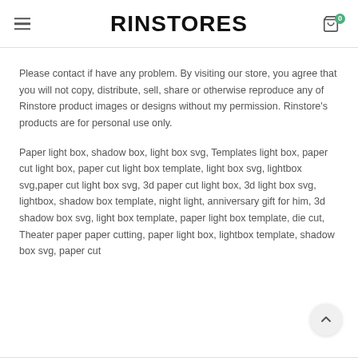RINSTORES
Please contact if have any problem. By visiting our store, you agree that you will not copy, distribute, sell, share or otherwise reproduce any of Rinstore product images or designs without my permission. Rinstore's products are for personal use only.
Paper light box, shadow box, light box svg, Templates light box, paper cut light box, paper cut light box template, light box svg, lightbox svg,paper cut light box svg, 3d paper cut light box, 3d light box svg, lightbox, shadow box template, night light, anniversary gift for him, 3d shadow box svg, light box template, paper light box template, die cut, Theater paper paper cutting, paper light box, lightbox template, shadow box svg, paper cut